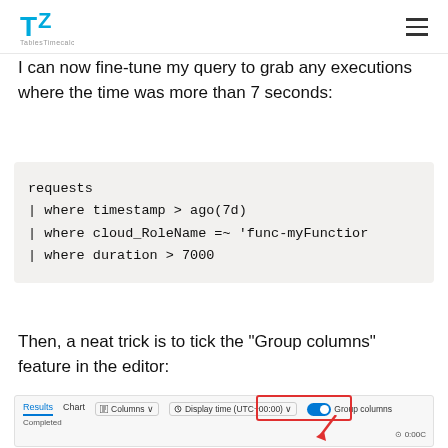TZ TablesTimecalculator logo and hamburger menu
I can now fine-tune my query to grab any executions where the time was more than 7 seconds:
requests
| where timestamp > ago(7d)
| where cloud_RoleName =~ 'func-myFunction'
| where duration > 7000
Then, a neat trick is to tick the "Group columns" feature in the editor:
[Figure (screenshot): Screenshot of Azure Application Insights query editor toolbar showing Results, Chart tabs, Columns button, Display time (UTC+00:00) dropdown, and a highlighted toggled-on Group columns toggle with a red bounding box around it. Status bar shows Completed and 0:00C timer.]